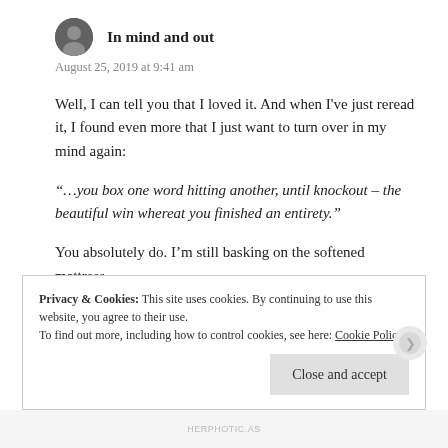[Figure (photo): Small circular avatar photo of a person, black and white]
In mind and out
August 25, 2019 at 9:41 am
Well, I can tell you that I loved it. And when I've just reread it, I found even more that I just want to turn over in my mind again:
“…you box one word hitting another, until knockout – the beautiful win whereat you finished an entirety.”
You absolutely do. I’m still basking on the softened mattress.
Privacy & Cookies: This site uses cookies. By continuing to use this website, you agree to their use.
To find out more, including how to control cookies, see here: Cookie Policy
Close and accept